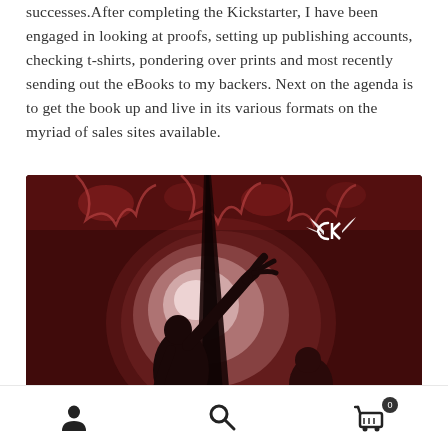successes.After completing the Kickstarter, I have been engaged in looking at proofs, setting up publishing accounts, checking t-shirts, pondering over prints and most recently sending out the eBooks to my backers. Next on the agenda is to get the book up and live in its various formats on the myriad of sales sites available.
[Figure (illustration): Dark dramatic illustration showing two silhouetted figures against a glowing reddish-pink circular portal or eye. One figure has an arm raised upward. The background shows dark reddish tones with decorative patterns. A logo (stylized letters with wings) appears in the upper right corner.]
Navigation icons: user/person icon, search icon, shopping cart icon with badge showing 0